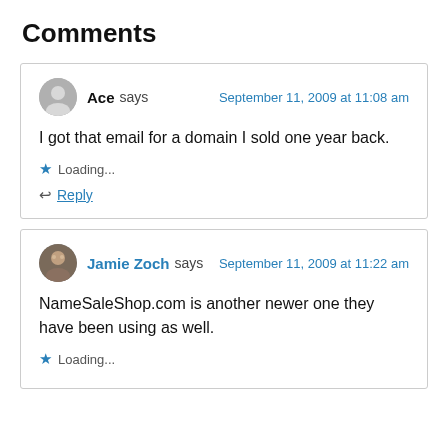Comments
Ace says  September 11, 2009 at 11:08 am
I got that email for a domain I sold one year back.
Loading...
Reply
Jamie Zoch says  September 11, 2009 at 11:22 am
NameSaleShop.com is another newer one they have been using as well.
Loading...